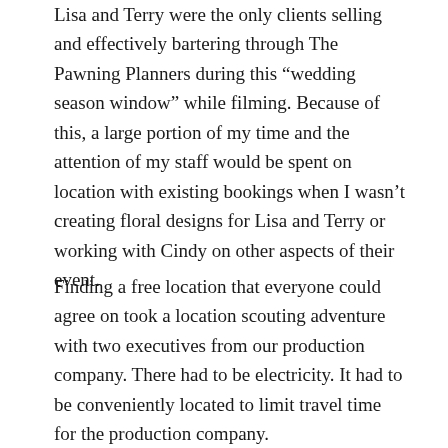Lisa and Terry were the only clients selling and effectively bartering through The Pawning Planners during this “wedding season window” while filming. Because of this, a large portion of my time and the attention of my staff would be spent on location with existing bookings when I wasn’t creating floral designs for Lisa and Terry or working with Cindy on other aspects of their event.
Finding a free location that everyone could agree on took a location scouting adventure with two executives from our production company. There had to be electricity. It had to be conveniently located to limit travel time for the production company.